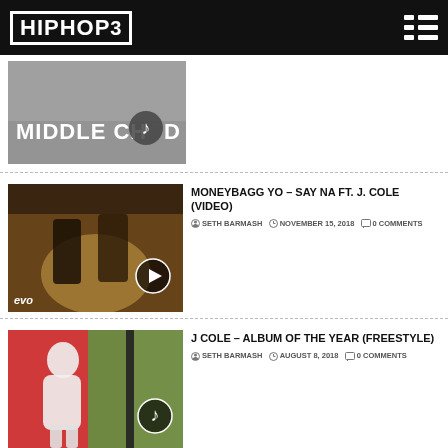HIPHOP3 [menu icon]
[Figure (photo): Partial thumbnail image showing 'MIDDLE CH[music note icon]D' text overlay on gray background]
MONEYBAGG YO – SAY NA FT. J. COLE (VIDEO)
SETH BARMASH  NOVEMBER 15, 2018  0 COMMENTS
[Figure (photo): Music video thumbnail showing two figures standing, with play button overlay and 'evo' watermark in bottom left]
J COLE – ALBUM OF THE YEAR (FREESTYLE)
SETH BARMASH  AUGUST 8, 2018  0 COMMENTS
[Figure (photo): Album art thumbnail showing a person in white dress against colorful background with music note icon overlay]